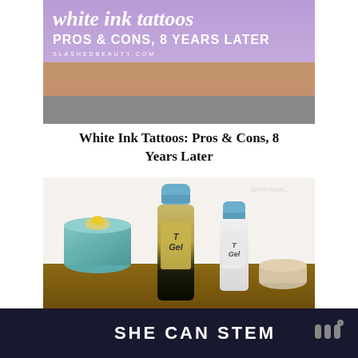[Figure (photo): White ink tattoos article thumbnail: purple/lavender banner with stylized italic script title 'white ink tattoos' and block text 'PROS & CONS, 8 YEARS LATER' and site URL 'SLASHEDBEAUTY.COM', below which is a photo of a human forearm/wrist area showing faded white ink tattoo on skin]
White Ink Tattoos: Pros & Cons, 8 Years Later
[Figure (photo): Two bottles of T/Gel shampoo (one large with amber/dark liquid, one smaller white bottle), both with blue caps, set on a surface with a teal candle holder in the background and a bowl to the right]
Why My Hair Smells Bad After
SHE CAN STEM